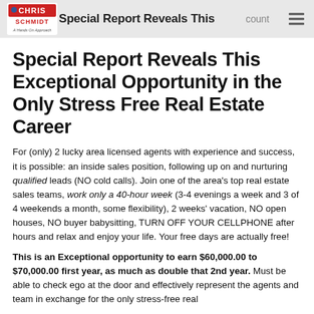Special Report Reveals This Exceptional Opportunity in the Only Stress Free Real Estate Career
Special Report Reveals This Exceptional Opportunity in the Only Stress Free Real Estate Career
For (only) 2 lucky area licensed agents with experience and success, it is possible: an inside sales position, following up on and nurturing qualified leads (NO cold calls). Join one of the area's top real estate sales teams, work only a 40-hour week (3-4 evenings a week and 3 of 4 weekends a month, some flexibility), 2 weeks' vacation, NO open houses, NO buyer babysitting, TURN OFF YOUR CELLPHONE after hours and relax and enjoy your life. Your free days are actually free!
This is an Exceptional opportunity to earn $60,000.00 to $70,000.00 first year, as much as double that 2nd year. Must be able to check ego at the door and effectively represent the agents and team in exchange for the only stress-free real